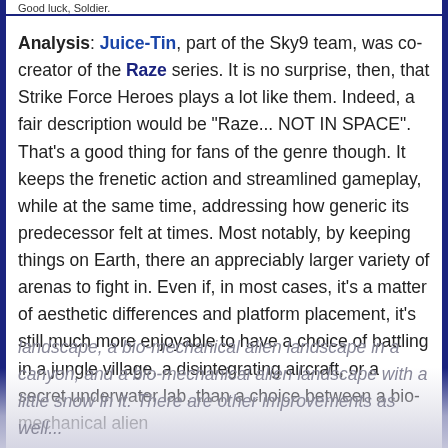Good luck, Soldier.
Analysis: Juice-Tin, part of the Sky9 team, was co-creator of the Raze series. It is no surprise, then, that Strike Force Heroes plays a lot like them. Indeed, a fair description would be "Raze... NOT IN SPACE". That's a good thing for fans of the genre though. It keeps the frenetic action and streamlined gameplay, while at the same time, addressing how generic its predecessor felt at times. Most notably, by keeping things on Earth, there an appreciably larger variety of arenas to fight in. Even if, in most cases, it's a matter of aesthetic differences and platform placement, it's still much more enjoyable to have a choice of battling in a jungle village, a disintegrating aircraft, or a secret underwater lab, than a choice between a bio-mechanical alien landscape, a bio-mechanical alien landscape in a canyon, and a bio-mechanical alien landscape with a little snow in it. There are other improvements as well...